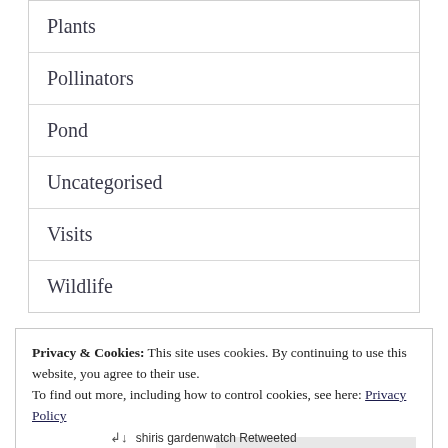Plants
Pollinators
Pond
Uncategorised
Visits
Wildlife
Privacy & Cookies: This site uses cookies. By continuing to use this website, you agree to their use.
To find out more, including how to control cookies, see here: Privacy Policy
Close and accept
↵↓  shiris gardenwatch Retweeted